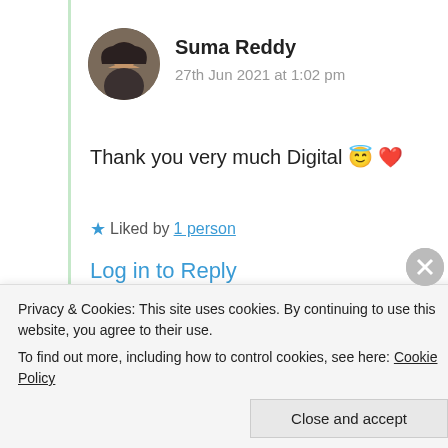[Figure (photo): Circular avatar photo of Suma Reddy, a woman with dark hair]
Suma Reddy
27th Jun 2021 at 1:02 pm
Thank you very much Digital 😇 ❤
★ Liked by 1 person
Log in to Reply
[Figure (photo): Circular avatar photo of Aanchal Singh, landscape background]
Aanchal Singh
Privacy & Cookies: This site uses cookies. By continuing to use this website, you agree to their use. To find out more, including how to control cookies, see here: Cookie Policy
Close and accept